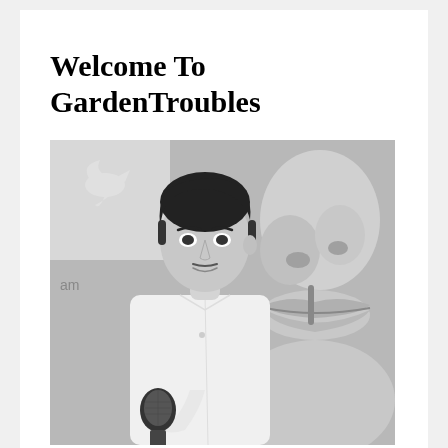Welcome To GardenTroubles
[Figure (photo): Black and white photo of a young man in a white shirt holding a microphone, standing in front of a large decorative mural of a face (close-up of lips and nose). A dove logo and text 'am' are partially visible in the background on the left.]